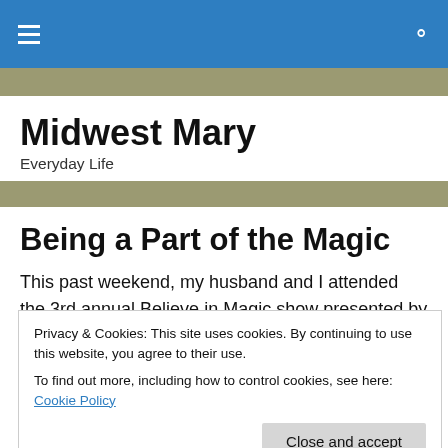Midwest Mary — navigation bar with hamburger menu and search icon
Midwest Mary
Everyday Life
Being a Part of the Magic
This past weekend, my husband and I attended the 3rd annual Believe in Magic show presented by the National
Privacy & Cookies: This site uses cookies. By continuing to use this website, you agree to their use.
To find out more, including how to control cookies, see here: Cookie Policy
in honor of his niece, Teagan, who he magically introduced